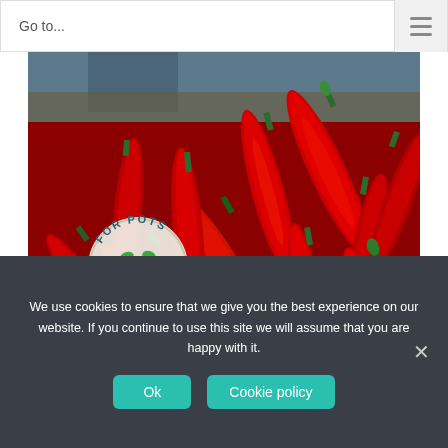Go to...
[Figure (photo): Close-up photo of many bright red hot chili peppers piled together with green stems, inside a round metal tray. A 'FOR POTS' badge/icon is overlaid on the lower left of the image.]
BUY DAVID'S PEPPER HOT RED SEEDS
We use cookies to ensure that we give you the best experience on our website. If you continue to use this site we will assume that you are happy with it.
Ok
Cookie policy